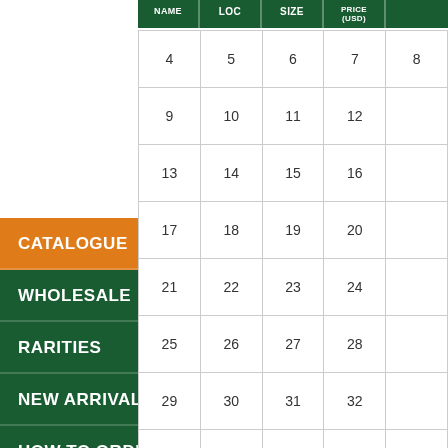CATALOGUE
WHOLESALE
RARITIES
NEW ARRIVALS
HOW TO ORDER
ABOUT US
TERMS AND CONDITIONS
CONTACT
| NAME | LOC | SIZE | PRICE (USD) |
| --- | --- | --- | --- |
| 4 | 5 | 6 | 7 | 8 |
| 9 | 10 | 11 | 12 |  |
| 13 | 14 | 15 | 16 |  |
| 17 | 18 | 19 | 20 |  |
| 21 | 22 | 23 | 24 |  |
| 25 | 26 | 27 | 28 |  |
| 29 | 30 | 31 | 32 |  |
| 33 | 34 | 35 | 36 |  |